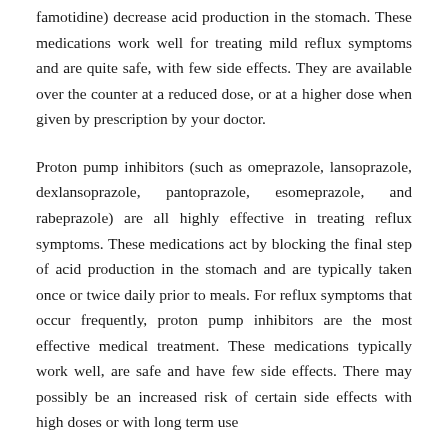famotidine) decrease acid production in the stomach. These medications work well for treating mild reflux symptoms and are quite safe, with few side effects. They are available over the counter at a reduced dose, or at a higher dose when given by prescription by your doctor.
Proton pump inhibitors (such as omeprazole, lansoprazole, dexlansoprazole, pantoprazole, esomeprazole, and rabeprazole) are all highly effective in treating reflux symptoms. These medications act by blocking the final step of acid production in the stomach and are typically taken once or twice daily prior to meals. For reflux symptoms that occur frequently, proton pump inhibitors are the most effective medical treatment. These medications typically work well, are safe and have few side effects. There may possibly be an increased risk of certain side effects with high doses or with long term use